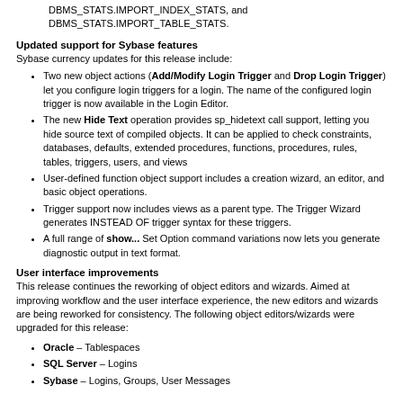DBMS_STATS.IMPORT_INDEX_STATS, and DBMS_STATS.IMPORT_TABLE_STATS.
Updated support for Sybase features
Sybase currency updates for this release include:
Two new object actions (Add/Modify Login Trigger and Drop Login Trigger) let you configure login triggers for a login. The name of the configured login trigger is now available in the Login Editor.
The new Hide Text operation provides sp_hidetext call support, letting you hide source text of compiled objects. It can be applied to check constraints, databases, defaults, extended procedures, functions, procedures, rules, tables, triggers, users, and views
User-defined function object support includes a creation wizard, an editor, and basic object operations.
Trigger support now includes views as a parent type. The Trigger Wizard generates INSTEAD OF trigger syntax for these triggers.
A full range of show... Set Option command variations now lets you generate diagnostic output in text format.
User interface improvements
This release continues the reworking of object editors and wizards. Aimed at improving workflow and the user interface experience, the new editors and wizards are being reworked for consistency. The following object editors/wizards were upgraded for this release:
Oracle – Tablespaces
SQL Server – Logins
Sybase – Logins, Groups, User Messages